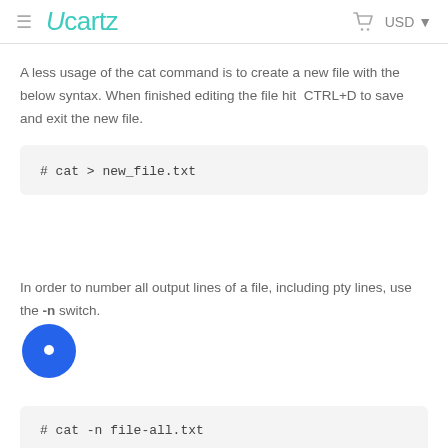≡  Ucartz   🛒  USD ▾
A less usage of the cat command is to create a new file with the below syntax. When finished editing the file hit  CTRL+D to save and exit the new file.
# cat > new_file.txt
In order to number all output lines of a file, including empty lines, use the -n switch.
# cat -n file-all.txt